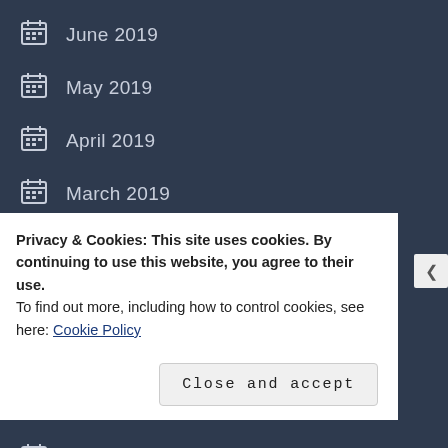June 2019
May 2019
April 2019
March 2019
February 2019
January 2019
December 2018
August 2018
June 2018
Privacy & Cookies: This site uses cookies. By continuing to use this website, you agree to their use.
To find out more, including how to control cookies, see here: Cookie Policy
Close and accept